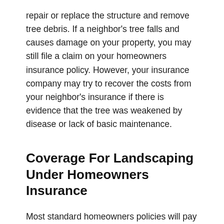repair or replace the structure and remove tree debris. If a neighbor's tree falls and causes damage on your property, you may still file a claim on your homeowners insurance policy. However, your insurance company may try to recover the costs from your neighbor's insurance if there is evidence that the tree was weakened by disease or lack of basic maintenance.
Coverage For Landscaping Under Homeowners Insurance
Most standard homeowners policies will pay to replace trees, plants, and shrubs that are damaged by covered perils. These perils typically include: